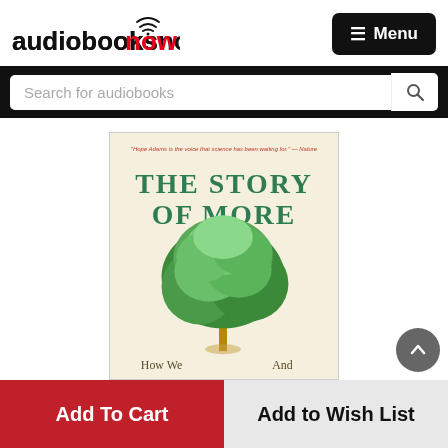[Figure (logo): Audiobooksnow logo with wifi signal icon above the 'o' in 'now', text in black except 'now' in red]
≡ Menu
Search for audiobooks
[Figure (photo): Book cover for 'The Story of More' showing a large green tree on a cream background. Small red quote at top. Title in large green serif font. Subtitle text 'How We' and 'And' visible at bottom.]
Add To Cart
Add to Wish List